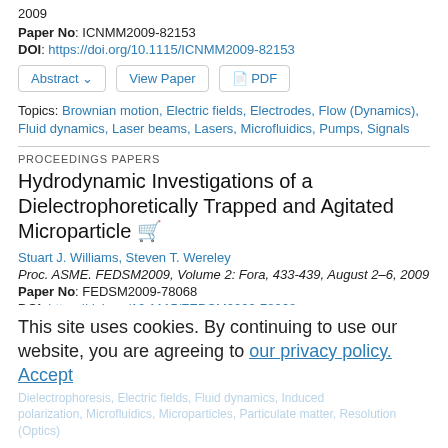2009
Paper No: ICNMM2009-82153
DOI: https://doi.org/10.1115/ICNMM2009-82153
Abstract   View Paper   PDF
Topics: Brownian motion, Electric fields, Electrodes, Flow (Dynamics), Fluid dynamics, Laser beams, Lasers, Microfluidics, Pumps, Signals
PROCEEDINGS PAPERS
Hydrodynamic Investigations of a Dielectrophoretically Trapped and Agitated Microparticle
Stuart J. Williams, Steven T. Wereley
Proc. ASME. FEDSM2009, Volume 2: Fora, 433-439, August 2–6, 2009
Paper No: FEDSM2009-78068
DOI: https://doi.org/10.1115/FEDSM2009-78068
This site uses cookies. By continuing to use our website, you are agreeing to our privacy policy. Accept
Dielectrophoresis, Electric fields, Fluid dynamics, Induced polarization, Microfluidics, Microparticles, Particulate matter, Resolution (Optics)